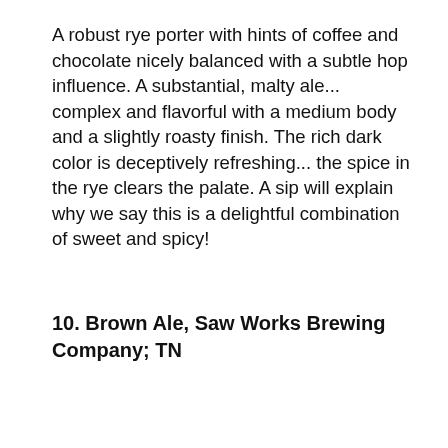A robust rye porter with hints of coffee and chocolate nicely balanced with a subtle hop influence. A substantial, malty ale... complex and flavorful with a medium body and a slightly roasty finish. The rich dark color is deceptively refreshing... the spice in the rye clears the palate. A sip will explain why we say this is a delightful combination of sweet and spicy!
10. Brown Ale, Saw Works Brewing Company; TN